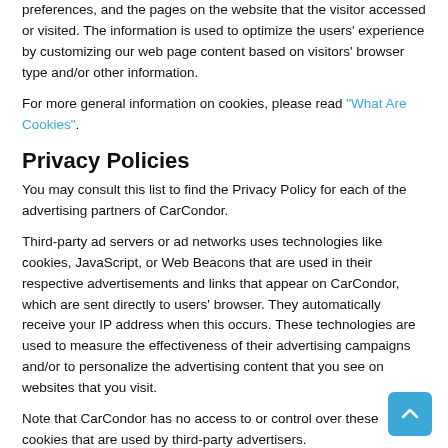preferences, and the pages on the website that the visitor accessed or visited. The information is used to optimize the users' experience by customizing our web page content based on visitors' browser type and/or other information.
For more general information on cookies, please read "What Are Cookies".
Privacy Policies
You may consult this list to find the Privacy Policy for each of the advertising partners of CarCondor.
Third-party ad servers or ad networks uses technologies like cookies, JavaScript, or Web Beacons that are used in their respective advertisements and links that appear on CarCondor, which are sent directly to users' browser. They automatically receive your IP address when this occurs. These technologies are used to measure the effectiveness of their advertising campaigns and/or to personalize the advertising content that you see on websites that you visit.
Note that CarCondor has no access to or control over these cookies that are used by third-party advertisers.
Third Party Privacy Policies
CarCondor's Privacy Policy does not apply to other